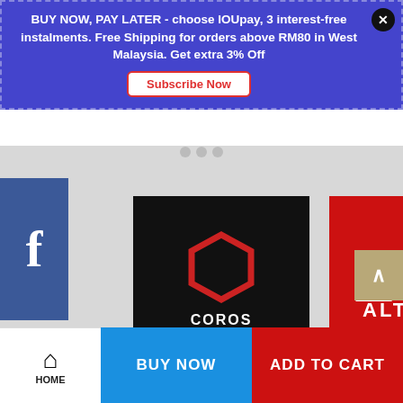BUY NOW, PAY LATER - choose IOUpay, 3 interest-free instalments. Free Shipping for orders above RM80 in West Malaysia. Get extra 3% Off
Subscribe Now
[Figure (logo): Facebook 'f' logo button, dark blue square on left side]
[Figure (logo): COROS Malaysia logo - black square with red hexagon icon and COROS MALAYSIA text]
[Figure (logo): Altra running brand logo - red square with white swoosh/wing and ALTRA text]
BUY NOW
ADD TO CART
HOME